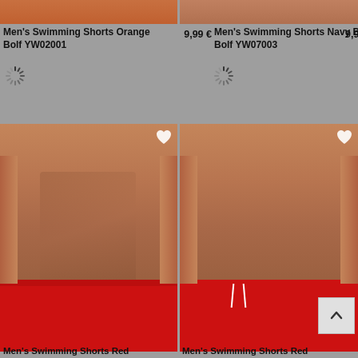[Figure (photo): Top of men's model wearing orange swimming shorts, cropped torso shot - left product]
Men's Swimming Shorts Orange Bolf YW02001
9,99 €
[Figure (other): Loading spinner icon]
[Figure (photo): Top of men's model wearing navy blue swimming shorts, cropped torso shot - right product]
Men's Swimming Shorts Navy Blue Bolf YW07003
9,99 €
[Figure (other): Loading spinner icon]
[Figure (photo): Full torso of man wearing red swimming shorts - left bottom product]
[Figure (photo): Full torso of man wearing red swimming shorts with white drawstring - right bottom product]
Men's Swimming Shorts Red
Men's Swimming Shorts Red